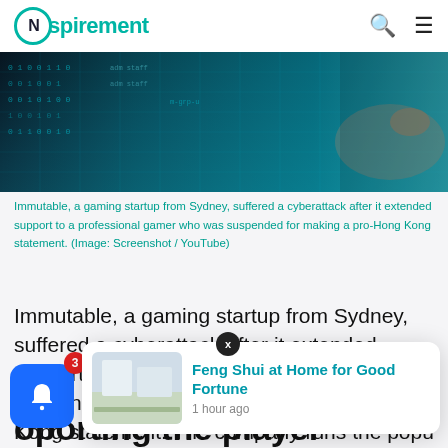Nspirement
[Figure (screenshot): Hero image showing hands touching a glowing digital interface with binary code and grid overlays in dark teal/blue tones.]
Immutable, a gaming startup from Sydney, suffered a cyberattack after it extended support to a professional gamer who was suspended for making a pro-Hong Kong statement. (Image: Screenshot / YouTube)
Immutable, a gaming startup from Sydney, suffered a cyberattack after it extended support to a professional gamer who was suspended from the sport for his pro-Hong Kong statement. The company runs the popu
oporting the player